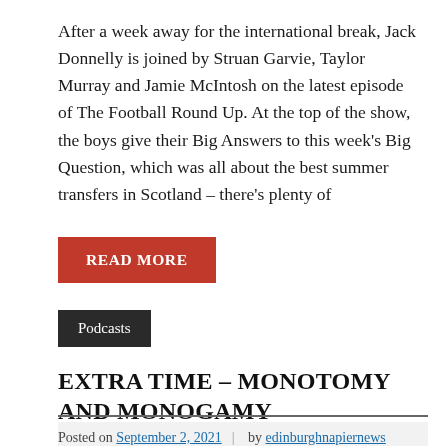After a week away for the international break, Jack Donnelly is joined by Struan Garvie, Taylor Murray and Jamie McIntosh on the latest episode of The Football Round Up. At the top of the show, the boys give their Big Answers to this week's Big Question, which was all about the best summer transfers in Scotland – there's plenty of
READ MORE
Podcasts
EXTRA TIME – MONOTOMY AND MONOGAMY
Posted on September 2, 2021 | by edinburghnapiernews